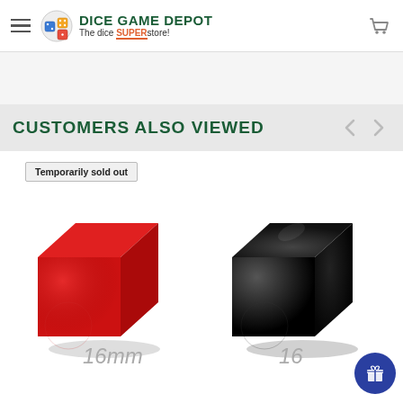DICE GAME DEPOT - The dice SUPERstore!
CUSTOMERS ALSO VIEWED
[Figure (photo): Red blank 16mm cube die with 'Temporarily sold out' badge overlay]
[Figure (photo): Black blank 16mm cube die]